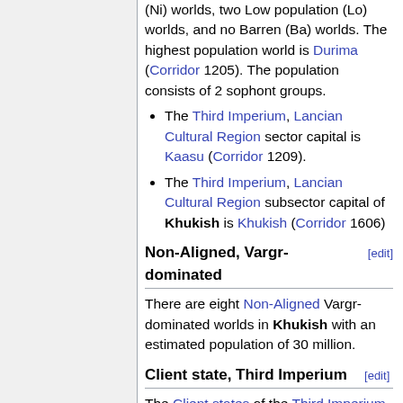(Ni) worlds, two Low population (Lo) worlds, and no Barren (Ba) worlds. The highest population world is Durima (Corridor 1205). The population consists of 2 sophont groups.
The Third Imperium, Lancian Cultural Region sector capital is Kaasu (Corridor 1209).
The Third Imperium, Lancian Cultural Region subsector capital of Khukish is Khukish (Corridor 1606)
Non-Aligned, Vargr-dominated [edit]
There are eight Non-Aligned Vargr-dominated worlds in Khukish with an estimated population of 30 million.
Client state, Third Imperium [edit]
The Client states of the Third Imperium in Khukish encompasses six worlds with an estimated population of 500 million.